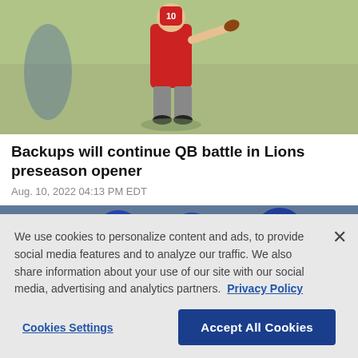[Figure (photo): Football player in red jersey number 10 throwing a pass during practice or game, green field background]
Backups will continue QB battle in Lions preseason opener
Aug. 10, 2022 04:13 PM EDT
[Figure (photo): Football players in blue helmets and uniforms in a huddle or line of scrimmage]
We use cookies to personalize content and ads, to provide social media features and to analyze our traffic. We also share information about your use of our site with our social media, advertising and analytics partners. Privacy Policy
Cookies Settings
Accept All Cookies